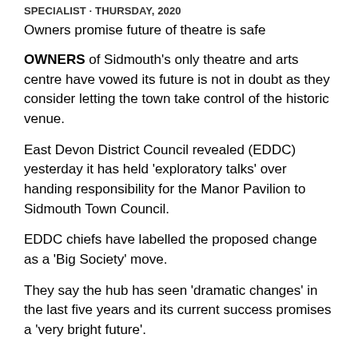SPECIALIST · THURSDAY, 2020
Owners promise future of theatre is safe
OWNERS of Sidmouth's only theatre and arts centre have vowed its future is not in doubt as they consider letting the town take control of the historic venue.
East Devon District Council revealed (EDDC) yesterday it has held 'exploratory talks' over handing responsibility for the Manor Pavilion to Sidmouth Town Council.
EDDC chiefs have labelled the proposed change as a 'Big Society' move.
They say the hub has seen 'dramatic changes' in the last five years and its current success promises a 'very bright future'.